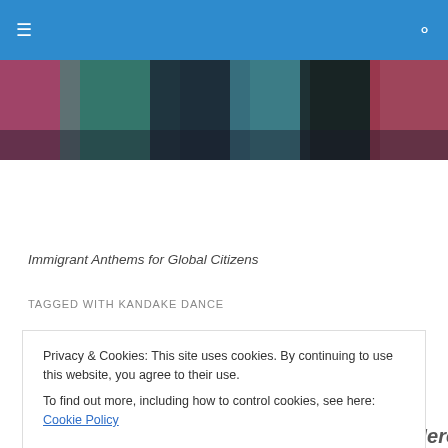≡  🔍
[Figure (photo): Colorful header image strip showing people dancing or performing, with pink, green, teal and black tones]
Immigrant Anthems for Global Citizens
TAGGED WITH KANDAKE DANCE
KANDAKE Dance Theater For Social Change & Their Badass
Privacy & Cookies: This site uses cookies. By continuing to use this website, you agree to their use.
To find out more, including how to control cookies, see here: Cookie Policy
Close and accept